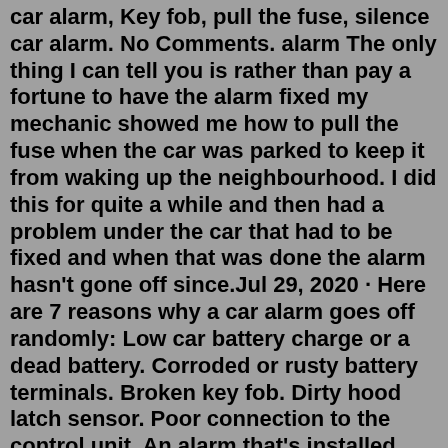car alarm, Key fob, pull the fuse, silence car alarm. No Comments. alarm The only thing I can tell you is rather than pay a fortune to have the alarm fixed my mechanic showed me how to pull the fuse when the car was parked to keep it from waking up the neighbourhood. I did this for quite a while and then had a problem under the car that had to be fixed and when that was done the alarm hasn't gone off since.Jul 29, 2020 · Here are 7 reasons why a car alarm goes off randomly: Low car battery charge or a dead battery. Corroded or rusty battery terminals. Broken key fob. Dirty hood latch sensor. Poor connection to the control unit. An alarm that's installed incorrectly. Sensitive shock sensors. The system is ready to arm whenever the key is out of the ignition. Any of the following actions arm the alarm system: Pressing the RKE transmitter lock control 1 time to arm the system. Locking all the doors using the door lock control switch while the driver or passenger door is open and then closed.Aug 14, 2018 · Added on August 14, 2018 The News Wheel